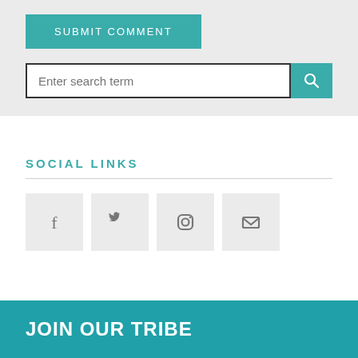SUBMIT COMMENT
Enter search term
SOCIAL LINKS
[Figure (other): Social media icon buttons: Facebook, Twitter, Instagram, Email]
JOIN OUR TRIBE